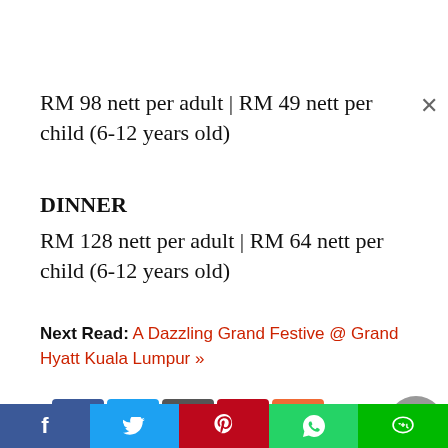RM 98 nett per adult | RM 49 nett per child (6-12 years old)
DINNER
RM 128 nett per adult | RM 64 nett per child (6-12 years old)
Next Read: A Dazzling Grand Festive @ Grand Hyatt Kuala Lumpur »
[Figure (other): Social media share buttons: Facebook, Twitter, Email, Pinterest, Plus, and a scroll-to-top arrow button]
[Figure (other): Bottom bar social share buttons: Facebook, Twitter, Pinterest, WhatsApp, LINE]